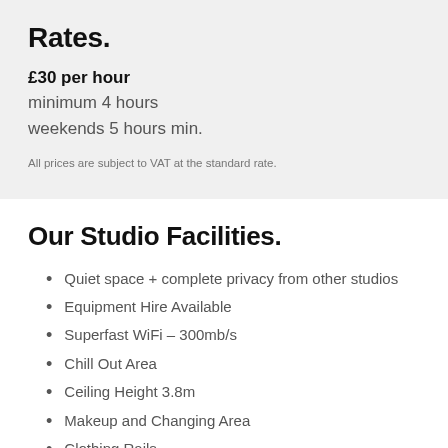Rates.
£30 per hour
minimum 4 hours
weekends 5 hours min.
All prices are subject to VAT at the standard rate.
Our Studio Facilities.
Quiet space + complete privacy from other studios
Equipment Hire Available
Superfast WiFi – 300mb/s
Chill Out Area
Ceiling Height 3.8m
Makeup and Changing Area
Clothing Rails
Iron / Ironing Board